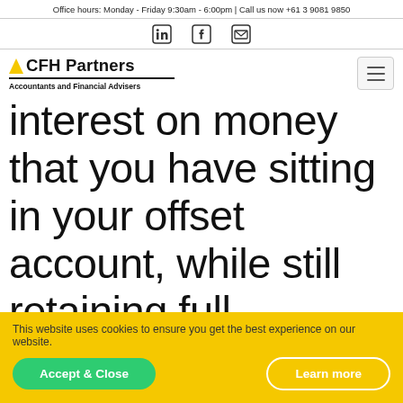Office hours: Monday - Friday 9:30am - 6:00pm | Call us now +61 3 9081 9850
[Figure (logo): LinkedIn, Facebook, and Email social media icons in a row]
[Figure (logo): CFH Partners logo with yellow triangle, text 'CFH Partners', underline, tagline 'Accountants and Financial Advisers', and hamburger menu icon]
interest on money that you have sitting in your offset account, while still retaining full
This website uses cookies to ensure you get the best experience on our website.
Accept & Close   Learn more